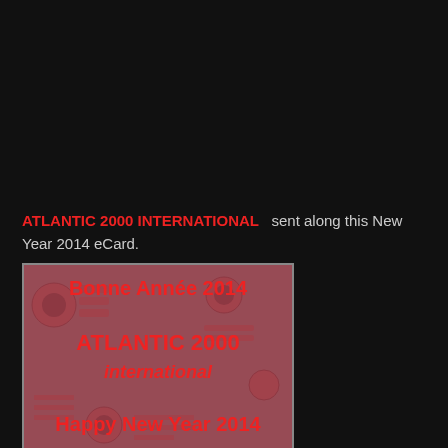ATLANTIC 2000 INTERNATIONAL sent along this New Year 2014 eCard.
[Figure (illustration): eCard with reddish background showing mechanical/electronic parts illustration. Text reads: Bonne Année 2014, ATLANTIC 2000 international, Happy New Year 2014]
T.L. Breyel at 7:44 PM   No comments:
Share